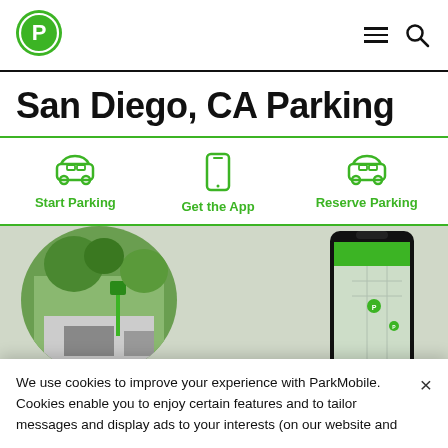[Figure (logo): ParkMobile green circular logo with stylized P icon]
San Diego, CA Parking
Start Parking
Get the App
Reserve Parking
[Figure (photo): Circular cropped photo of a parking area with trees and a green parking meter sign, overlaid with a smartphone showing the ParkMobile app with a map interface]
We use cookies to improve your experience with ParkMobile. Cookies enable you to enjoy certain features and to tailor messages and display ads to your interests (on our website and